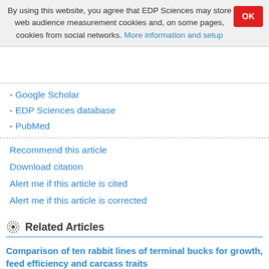By using this website, you agree that EDP Sciences may store web audience measurement cookies and, on some pages, cookies from social networks. More information and setup
- Google Scholar
- EDP Sciences database
- PubMed
Recommend this article
Download citation
Alert me if this article is cited
Alert me if this article is corrected
Related Articles
Comparison of ten rabbit lines of terminal bucks for growth, feed efficiency and carcass traits
Anim. Res. 53, 535-545 (2004)